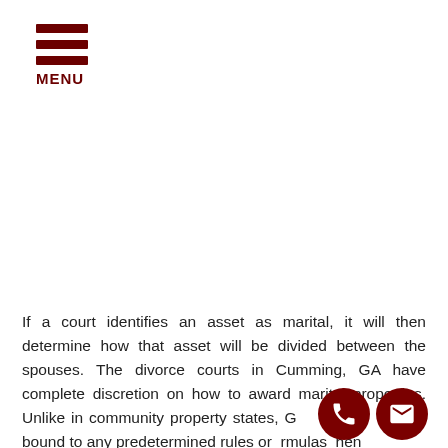MENU
If a court identifies an asset as marital, it will then determine how that asset will be divided between the spouses. The divorce courts in Cumming, GA have complete discretion on how to award marital properties. Unlike in community property states, Georgia courts are not bound to any predetermined rules or formulas when